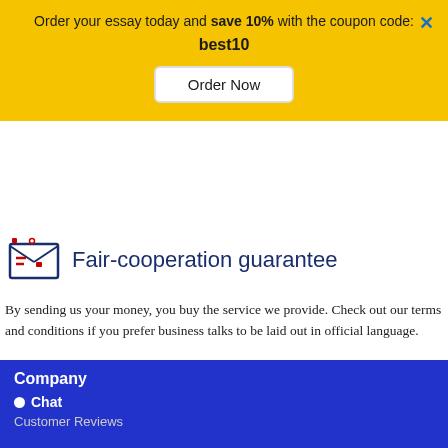Order your essay today and save 10% with the coupon code: best10
Order Now
Fair-cooperation guarantee
By sending us your money, you buy the service we provide. Check out our terms and conditions if you prefer business talks to be laid out in official language.
Read more
Company • Chat Customer Reviews